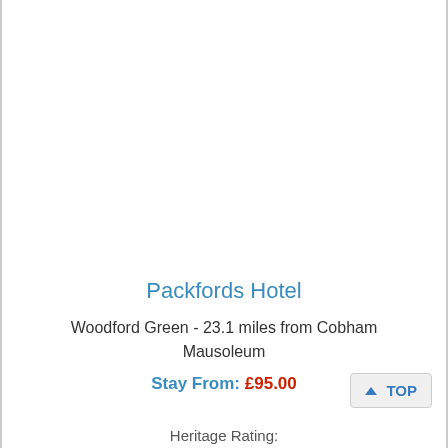Packfords Hotel
Woodford Green - 23.1 miles from Cobham Mausoleum
Stay From: £95.00
Heritage Rating: